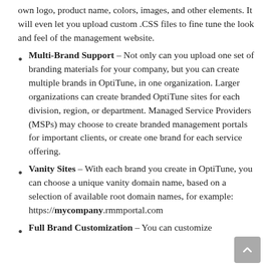own logo, product name, colors, images, and other elements. It will even let you upload custom .CSS files to fine tune the look and feel of the management website.
Multi-Brand Support – Not only can you upload one set of branding materials for your company, but you can create multiple brands in OptiTune, in one organization. Larger organizations can create branded OptiTune sites for each division, region, or department. Managed Service Providers (MSPs) may choose to create branded management portals for important clients, or create one brand for each service offering.
Vanity Sites – With each brand you create in OptiTune, you can choose a unique vanity domain name, based on a selection of available root domain names, for example: https://mycompany.rmmportal.com
Full Brand Customization – You can customize